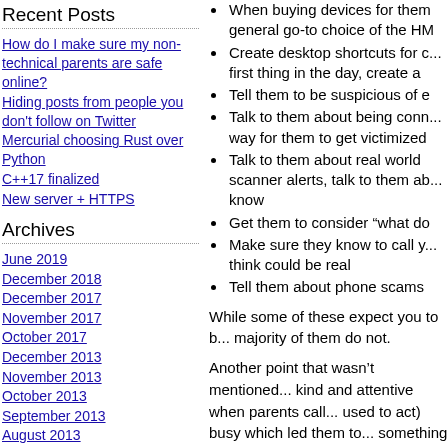Recent Posts
How do I make sure my non-technical parents are safe online?
Hiding posts from people you don't follow on Twitter
Mercurial choosing Rust over Python
C++17 finalized
New server + HTTPS
Archives
June 2019
December 2018
December 2017
November 2017
October 2017
December 2013
November 2013
October 2013
September 2013
August 2013
January 2013
When buying devices for them general go-to choice of the H...
Create desktop shortcuts for c... first thing in the day, create a...
Tell them to be suspicious of e...
Talk to them about being conn... way for them to get victimized...
Talk to them about real world... scanner alerts, talk to them ab... know
Get them to consider “what do...
Make sure they know to call y... think could be real
Tell them about phone scams...
While some of these expect you to b... majority of them do not.
Another point that wasn’t mentioned... kind and attentive when parents call... used to act) busy which led them to... something you would not want to ha...
By thameera | Posted ...